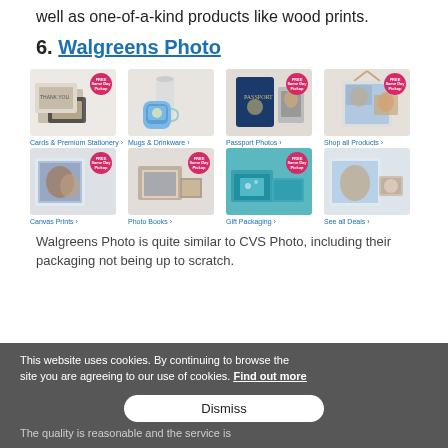well as one-of-a-kind products like wood prints.
6. Walgreens Photo
[Figure (screenshot): Walgreens Photo website screenshot showing 8 product category tiles: Cards & Premium Stationery, Mugs & Drinkware, Passport Photos, Shop all Products (top row); Canvas Prints, Photo Books, Gift Packaging, See all Deals (bottom row). Each tile has a product image and most have a FREE Same Day Pickup badge.]
This website uses cookies. By continuing to browse the site you are agreeing to our use of cookies. Find out more
Walgreens Photo is quite similar to CVS Photo, including their packaging not being up to scratch.
The quality is reasonable and the service is